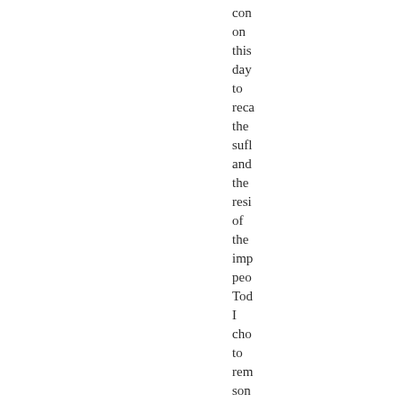con on this day to reca the sufl and the resi of the imp peo Tod I cho to rem son diff